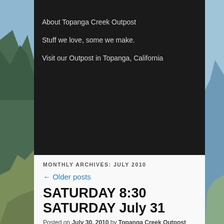[Figure (photo): Mountain/nature landscape background with blue sky and hillside vegetation visible on left and right sides]
About Topanga Creek Outpost
Stuff we love, some we make.
Visit our Outpost in Topanga, California
MONTHLY ARCHIVES: JULY 2010
← Older posts
SATURDAY 8:30 SATURDAY July 31
Posted on July 30, 2010 by Topanga Creek Outpost Adventures
We are going to ride from the shop into the state